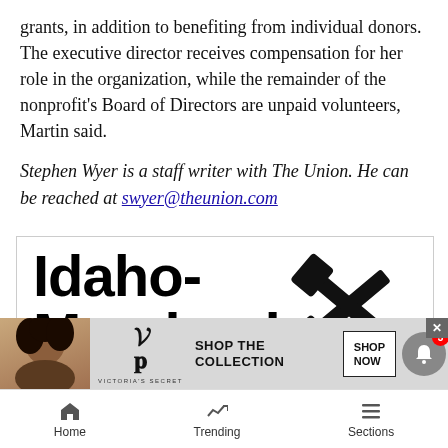grants, in addition to benefiting from individual donors. The executive director receives compensation for her role in the organization, while the remainder of the nonprofit's Board of Directors are unpaid volunteers, Martin said.
Stephen Wyer is a staff writer with The Union. He can be reached at swyer@theunion.com
[Figure (other): Idaho-Maryland Mine advertisement/banner with crossed pickaxe and hammer icons in bold black text]
[Figure (other): Victoria's Secret advertisement banner showing a woman and text 'SHOP THE COLLECTION' with 'SHOP NOW' button]
Home | Trending | Sections